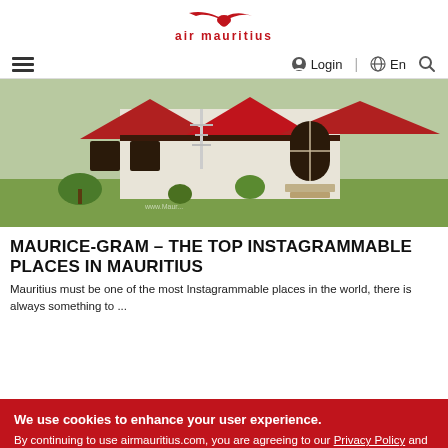[Figure (logo): Air Mauritius logo with red stylized bird and red text 'air mauritius']
☰  Login  🌐 | En  🔍
[Figure (photo): Photograph of a colonial-style building in Mauritius with red roofs and white walls, green lawn in front]
MAURICE-GRAM – THE TOP INSTAGRAMMABLE PLACES IN MAURITIUS
Mauritius must be one of the most Instagrammable places in the world, there is always something to ...
We use cookies to enhance your user experience. By continuing to use airmauritius.com, you are agreeing to our Privacy Policy and Terms of Use
OK